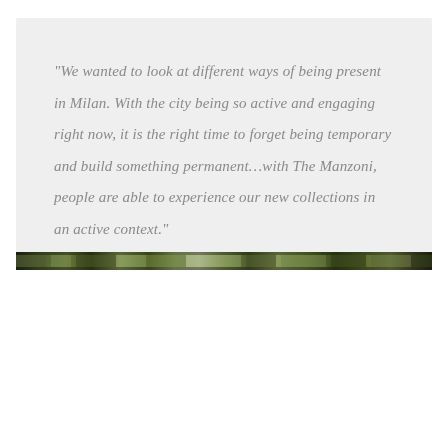“We wanted to look at different ways of being present in Milan. With the city being so active and engaging right now, it is the right time to forget being temporary and build something permanent…with The Manzoni, people are able to experience our new collections in an active context.”

The Manzoni
[Figure (photo): A narrow horizontal strip showing a blurred outdoor scene with dense green foliage and trees.]